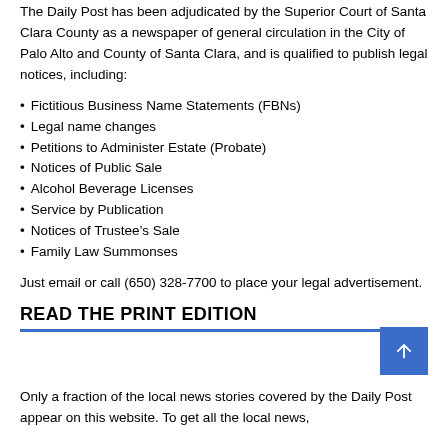The Daily Post has been adjudicated by the Superior Court of Santa Clara County as a newspaper of general circulation in the City of Palo Alto and County of Santa Clara, and is qualified to publish legal notices, including:
Fictitious Business Name Statements (FBNs)
Legal name changes
Petitions to Administer Estate (Probate)
Notices of Public Sale
Alcohol Beverage Licenses
Service by Publication
Notices of Trustee’s Sale
Family Law Summonses
Just email or call (650) 328-7700 to place your legal advertisement.
READ THE PRINT EDITION
Only a fraction of the local news stories covered by the Daily Post appear on this website. To get all the local news,